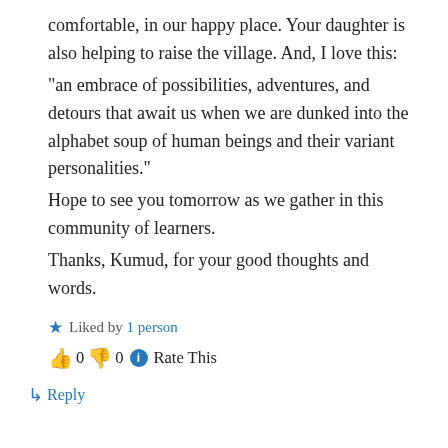comfortable, in our happy place. Your daughter is also helping to raise the village. And, I love this:
“an embrace of possibilities, adventures, and detours that await us when we are dunked into the alphabet soup of human beings and their variant personalities.”
Hope to see you tomorrow as we gather in this community of learners.
Thanks, Kumud, for your good thoughts and words.
★ Liked by 1 person
👍 0 👎 0 ℹ Rate This
↳ Reply